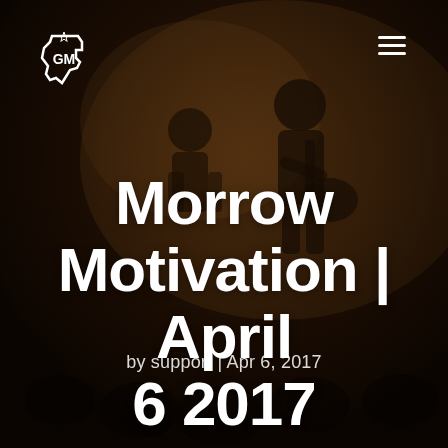[Figure (photo): Sepia-toned dark background photo of two musicians on stage, heavily darkened with brownish overlay. Two figures visible, one in foreground playing guitar.]
Morrow Motivation | April 6 2017
by support | Apr 6, 2017